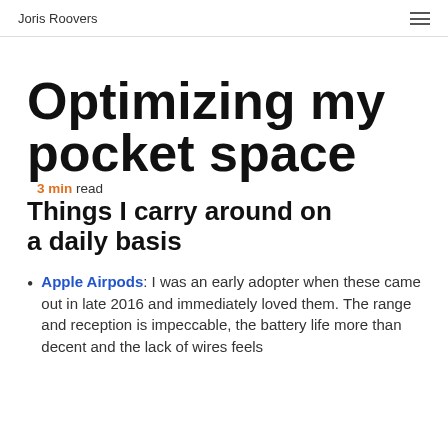Joris Roovers
Optimizing my pocket space  3 min read
Things I carry around on a daily basis
Apple Airpods: I was an early adopter when these came out in late 2016 and immediately loved them. The range and reception is impeccable, the battery life more than decent and the lack of wires feels